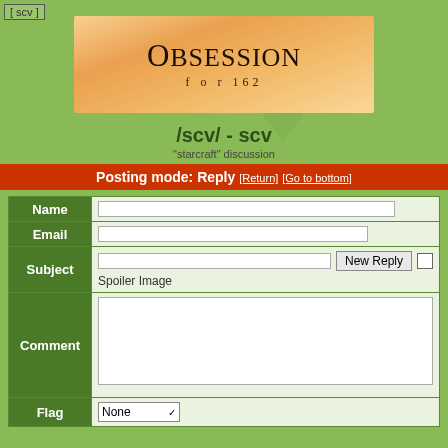[ scv ]
[Figure (photo): Banner image of a perfume bottle with text OBSESSION for 162]
/scv/ - SCV
"starcraft" discussion
Posting mode: Reply [Return] [Go to bottom]
| Field | Input |
| --- | --- |
| Name |  |
| Email |  |
| Subject | New Reply  Spoiler Image |
| Comment |  |
| Flag | None |